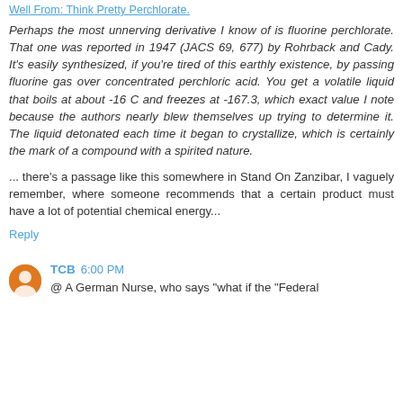Well From: Think Pretty Perchlorate.
Perhaps the most unnerving derivative I know of is fluorine perchlorate. That one was reported in 1947 (JACS 69, 677) by Rohrback and Cady. It's easily synthesized, if you're tired of this earthly existence, by passing fluorine gas over concentrated perchloric acid. You get a volatile liquid that boils at about -16 C and freezes at -167.3, which exact value I note because the authors nearly blew themselves up trying to determine it. The liquid detonated each time it began to crystallize, which is certainly the mark of a compound with a spirited nature.
... there's a passage like this somewhere in Stand On Zanzibar, I vaguely remember, where someone recommends that a certain product must have a lot of potential chemical energy...
Reply
TCB 6:00 PM
@ A German Nurse, who says "what if the "Federal